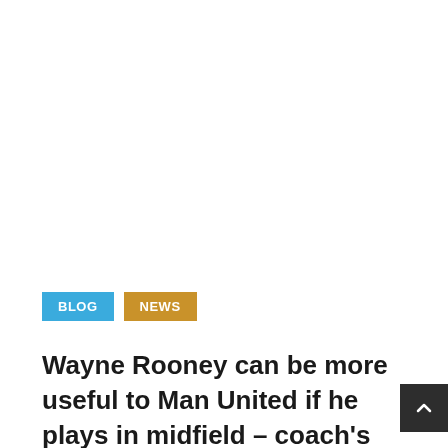BLOG    NEWS
Wayne Rooney can be more useful to Man United if he plays in midfield – coach's opinion